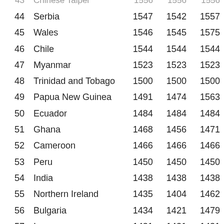| Rank | Country/Territory | Col1 | Col2 | Col3 |
| --- | --- | --- | --- | --- |
| 43 | Chinese Taipei | 1556 | 1556 | 1556 |
| 44 | Serbia | 1547 | 1542 | 1557 |
| 45 | Wales | 1546 | 1545 | 1575 |
| 46 | Chile | 1544 | 1544 | 1544 |
| 47 | Myanmar | 1523 | 1523 | 1523 |
| 48 | Trinidad and Tobago | 1500 | 1500 | 1500 |
| 49 | Papua New Guinea | 1491 | 1474 | 1563 |
| 50 | Ecuador | 1484 | 1484 | 1484 |
| 51 | Ghana | 1468 | 1456 | 1471 |
| 52 | Cameroon | 1466 | 1466 | 1466 |
| 53 | Peru | 1450 | 1450 | 1450 |
| 54 | India | 1438 | 1438 | 1438 |
| 55 | Northern Ireland | 1435 | 1404 | 1462 |
| 56 | Bulgaria | 1434 | 1421 | 1479 |
| 57 | Iran | 1431 | 1431 | 1431 |
| 58 | Paraguay | 1430 | 1430 | 1430 |
| 59 | Jordan | 1404 | 1404 | 1404 |
| 60 | Haiti | 1397 | 1397 | 1397 |
| 61 | Greece | 1393 | 1357 | 1415 |
| 62 | Slovenia | 1386 | 1385 | 1415 |
| 63 | Israel | 1380 | 1380 | 1380 |
| 64 | Croatia | 1376 | 1375 | 1404 |
| 65 | South Africa | 1372 | 1369 | 1382 |